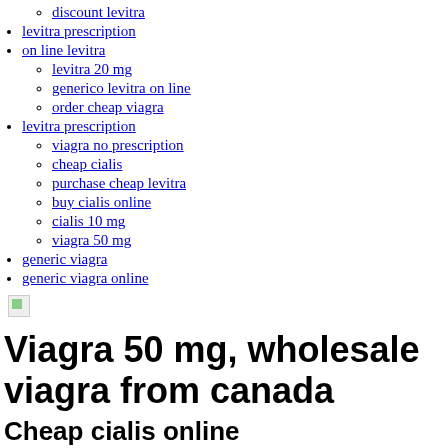discount levitra
levitra prescription
on line levitra
levitra 20 mg
generico levitra on line
order cheap viagra
levitra prescription
viagra no prescription
cheap cialis
purchase cheap levitra
buy cialis online
cialis 10 mg
viagra 50 mg
generic viagra
generic viagra online
[Figure (other): Broken/missing image placeholder (small green icon)]
Viagra 50 mg, wholesale viagra from canada
Cheap cialis online